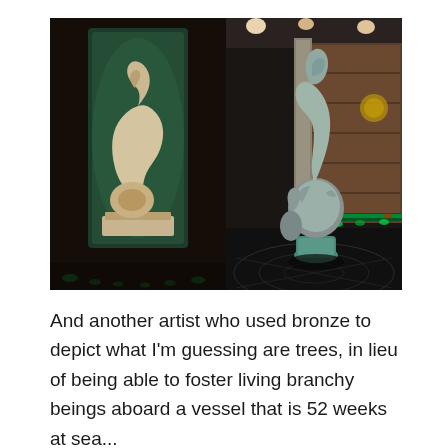[Figure (photo): Two side-by-side photographs of abstract bronze/stone sculptures. Left photo: a swirling cream-colored marble or stone sculpture displayed in a dark niche with green ambient lighting at the base. Right photo: a tall abstract bronze/stone sculpture resembling a branching or twisting tree form, displayed in a hotel or cruise ship lobby with reflective dark marble floors and green accent lighting.]
And another artist who used bronze to depict what I'm guessing are trees, in lieu of being able to foster living branchy beings aboard a vessel that is 52 weeks at sea...